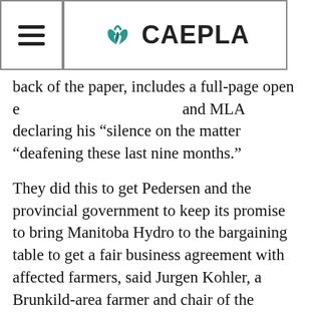CAEPLA (logo with menu icon)
back of the paper, includes a full-page open e[tter] and MLA declaring his “silence on the matter “deafening these last nine months.”
They did this to get Pedersen and the provincial government to keep its promise to bring Manitoba Hydro to the bargaining table to get a fair business agreement with affected farmers, said Jurgen Kohler, a Brunkild-area farmer and chair of the Manitoba Bipole III Landowners Committee that paid for the ad.
Following a review last spring the new PC government said it could not reroute the